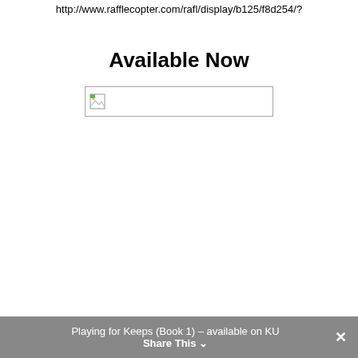http://www.rafflecopter.com/rafl/display/b125/f8d254/?
Available Now
[Figure (other): Broken/placeholder image icon in a rectangular bordered box]
Playing for Keeps (Book 1) – available on KU   Share This  ✕